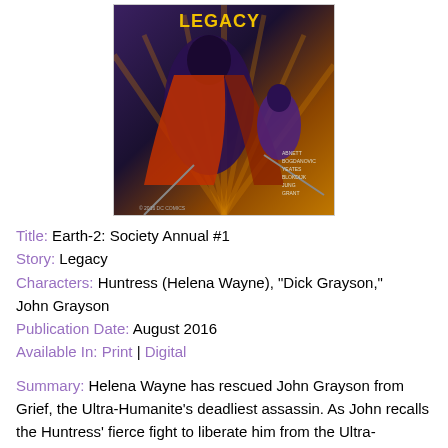[Figure (illustration): Comic book cover for Earth-2: Society Annual #1, showing dark-costumed superhero figures in action against an orange/gold streaked background with 'LEGACY' text at top]
Title: Earth-2: Society Annual #1
Story: Legacy
Characters: Huntress (Helena Wayne), "Dick Grayson," John Grayson
Publication Date: August 2016
Available In: Print | Digital
Summary: Helena Wayne has rescued John Grayson from Grief, the Ultra-Humanite's deadliest assassin. As John recalls the Huntress' fierce fight to liberate him from the Ultra-Humanite's control, he details to his father how the Ultra-Humanite exploited his fears and loss of family to turn him into one of his destructive agents. "Dick Grayson" then